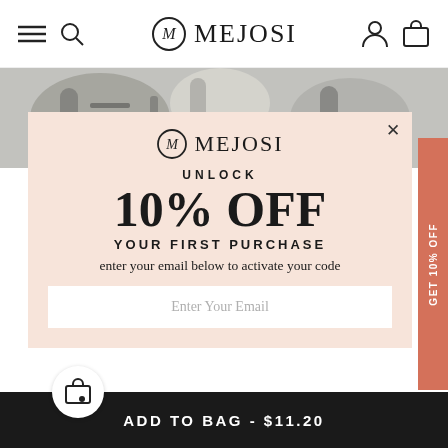MEJOSI
[Figure (screenshot): Background image of people at an event, partially visible behind a modal popup]
[Figure (logo): Mejosi logo inside modal - circle with M inside and MEJOSI text]
UNLOCK
10% OFF
YOUR FIRST PURCHASE
enter your email below to activate your code
Enter Your Email
ADD TO BAG - $11.20